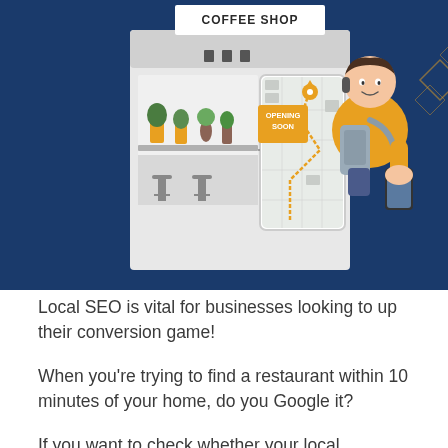[Figure (illustration): Illustration on a dark navy blue background showing a coffee shop storefront with 'OPENING SOON' sign, potted plants, bar stools, connected to a smartphone displaying a map with location pin. A young man in a yellow shirt with a backpack stands to the right looking at his phone.]
Local SEO is vital for businesses looking to up their conversion game!
When you're trying to find a restaurant within 10 minutes of your home, do you Google it?
If you want to check whether your local supermarket is open, or find the number of a lawyer that specialises in